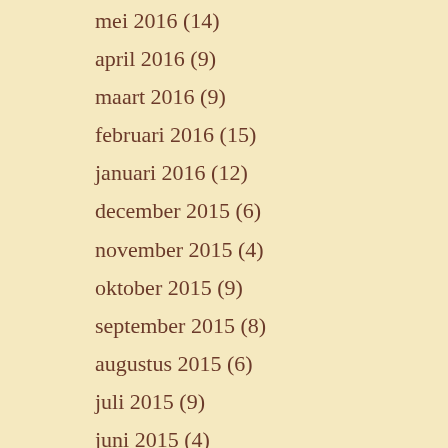mei 2016 (14)
april 2016 (9)
maart 2016 (9)
februari 2016 (15)
januari 2016 (12)
december 2015 (6)
november 2015 (4)
oktober 2015 (9)
september 2015 (8)
augustus 2015 (6)
juli 2015 (9)
juni 2015 (4)
mei 2015 (11)
april 2015 (10)
maart 2015 (8)
februari 2015 (8)
januari 2015 (13)